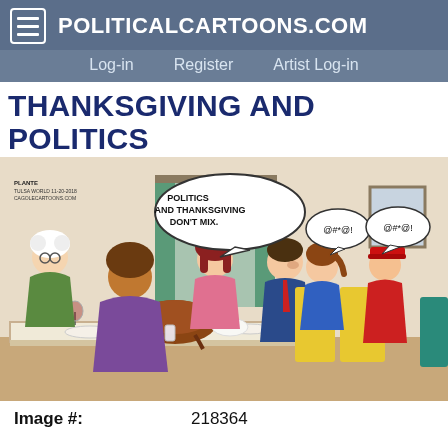PoliticalCartoons.com — Log-in | Register | Artist Log-in
THANKSGIVING AND POLITICS
[Figure (illustration): Political cartoon by Plante, Tulsa World 11-20-2018, CagleCartoons.com. A Thanksgiving dinner scene with a family at a table. A man at the center says in a speech bubble 'Politics and Thanksgiving don't mix.' To the right, two people are arguing in chairs with expletive speech bubbles (@#*@! and @#*@!). The family at the table looks on with concern.]
Image #:          218364